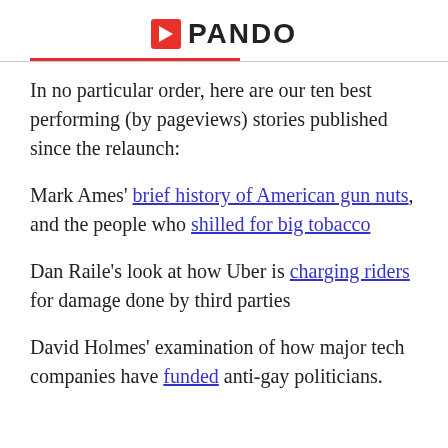PANDO
In no particular order, here are our ten best performing (by pageviews) stories published since the relaunch:
Mark Ames' brief history of American gun nuts, and the people who shilled for big tobacco
Dan Raile's look at how Uber is charging riders for damage done by third parties
David Holmes' examination of how major tech companies have funded anti-gay politicians.